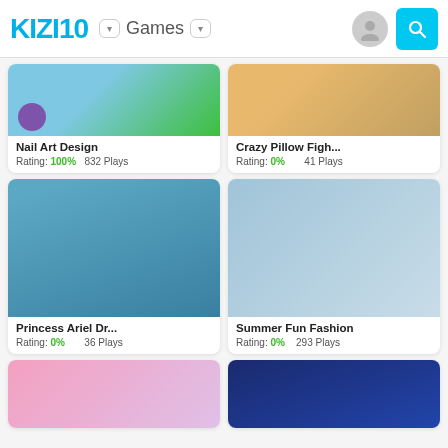KIZI10  Games
[Figure (screenshot): Nail Art Design game thumbnail - teal/green background with purple gem nail art]
Nail Art Design
Rating: 100%  832 Plays
[Figure (screenshot): Crazy Pillow Fight game thumbnail - room with couch and characters]
Crazy Pillow Figh...
Rating: 0%  41 Plays
[Figure (screenshot): Princess Ariel Dr... game thumbnail - Ariel the little mermaid character]
Princess Ariel Dr...
Rating: 0%  36 Plays
[Figure (screenshot): Summer Fun Fashion game thumbnail - two stylish girls in front of city window]
Summer Fun Fashion
Rating: 0%  293 Plays
[Figure (screenshot): Makeup/unicorn game thumbnail - pink background with makeup brushes]
[Figure (screenshot): Robin/superhero game thumbnail - dark blue background with masked character]